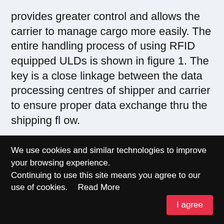provides greater control and allows the carrier to manage cargo more easily. The entire handling process of using RFID equipped ULDs is shown in figure 1. The key is a close linkage between the data processing centres of shipper and carrier to ensure proper data exchange thru the shipping fl ow.
Airlines also profi t from using RFID technology, because of a much better container management capability. Larger cargo airlines such as Lufthansa
We use cookies and similar technologies to improve your browsing experience.
Continuing to use this site means you agree to our use of cookies.    Read More